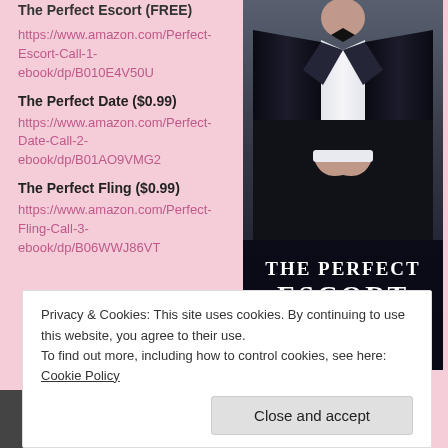The Perfect Escort (FREE)
https://www.amazon.com/Perfect-Escort-Call-1-ebook/dp/B010E4V50U
The Perfect Date ($0.99)
https://www.amazon.com/Perfect-Date-Call-2-ebook/dp/B01AO9VMG2
The Perfect Fling ($0.99)
https://www.amazon.com/Perfect-Fling-Call-3-ebook/dp/B06WWJ86VT
[Figure (illustration): Book cover for 'The Perfect Escort On Call Series' by Lynda Belle, showing a man in a tuxedo with large bold white text overlay]
Privacy & Cookies: This site uses cookies. By continuing to use this website, you agree to their use.
To find out more, including how to control cookies, see here: Cookie Policy
Close and accept